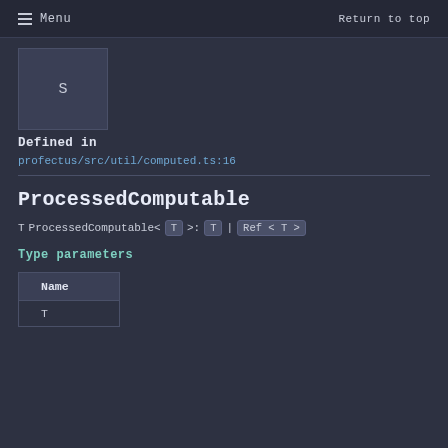Menu   Return to top
[Figure (other): Square box with letter S, representing a type symbol icon]
Defined in
profectus/src/util/computed.ts:16
ProcessedComputable
T ProcessedComputable< T >:  T  |  Ref < T >
Type parameters
| Name |
| --- |
| T |